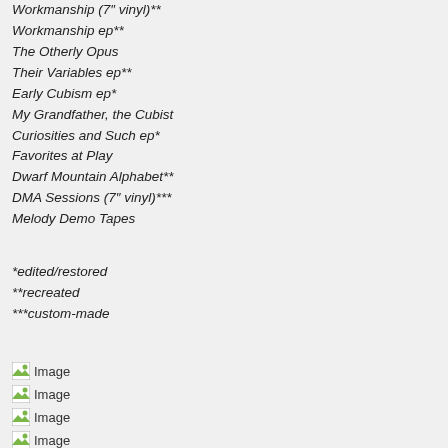Workmanship (7" vinyl)**
Workmanship ep**
The Otherly Opus
Their Variables ep**
Early Cubism ep*
My Grandfather, the Cubist
Curiosities and Such ep*
Favorites at Play
Dwarf Mountain Alphabet**
DMA Sessions (7" vinyl)***
Melody Demo Tapes
*edited/restored
**recreated
***custom-made
[Figure (other): Seven broken image placeholders labeled 'Image']